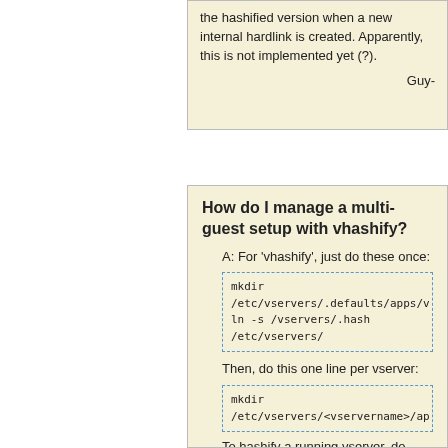the hashified version when a new internal hardlink is created. Apparently, this is not implemented yet (?).

Guy-
How do I manage a multi-guest setup with vhashify?
A: For 'vhashify', just do these once:
mkdir /etc/vservers/.defaults/apps/v
ln -s /vservers/.hash /etc/vservers/
Then, do this one line per vserver:
mkdir /etc/vservers/<vservername>/ap
To hashify a running vserver, do (possibly from a cronjob):